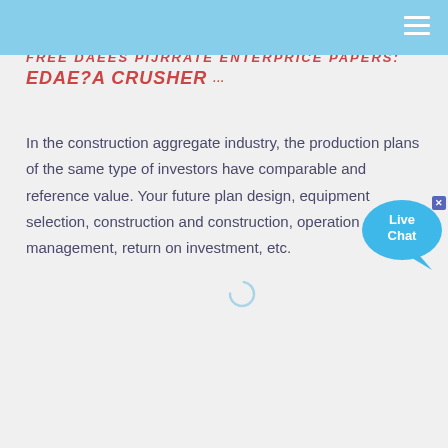FREE DAEES PIJRRATE ENTERPRICE PAPERS: EDAE?A CRUSHER
In the construction aggregate industry, the production plans of the same type of investors have comparable and reference value. Your future plan design, equipment selection, construction and construction, operation management, return on investment, etc.